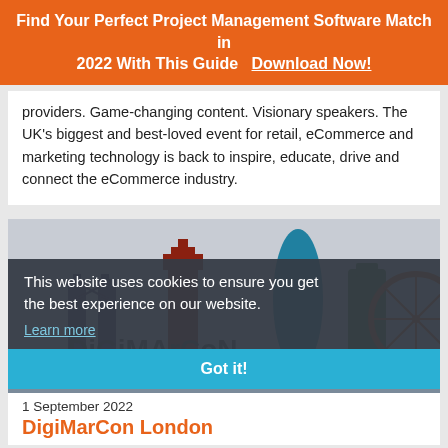Find Your Perfect Project Management Software Match in 2022 With This Guide   Download Now!
providers. Game-changing content. Visionary speakers. The UK's biggest and best-loved event for retail, eCommerce and marketing technology is back to inspire, educate, drive and connect the eCommerce industry.
[Figure (illustration): London skyline illustration with Tower Bridge, Big Ben, The Gherkin, and London Eye in stylized colorful shapes, with DigiMarCon logo text overlaid, partially obscured by a cookie consent overlay banner]
This website uses cookies to ensure you get the best experience on our website.
Learn more
Got it!
1 September 2022
DigiMarCon London